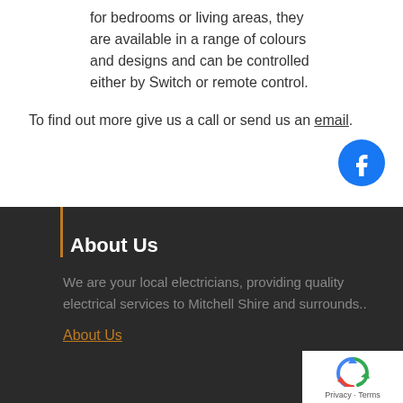for bedrooms or living areas, they are available in a range of colours and designs and can be controlled either by Switch or remote control.
To find out more give us a call or send us an email.
[Figure (logo): Facebook circular logo icon, blue background with white f letter]
About Us
We are your local electricians, providing quality electrical services to Mitchell Shire and surrounds..
About Us
[Figure (logo): Google reCAPTCHA badge with recycling arrow logo and Privacy - Terms links]